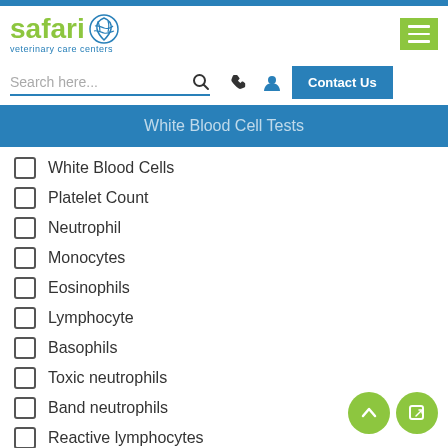[Figure (logo): Safari Veterinary Care Centers logo with green fingerprint icon]
[Figure (screenshot): Search bar with search icon, phone icon, user icon, and Contact Us button]
White Blood Cell Tests
White Blood Cells
Platelet Count
Neutrophil
Monocytes
Eosinophils
Lymphocyte
Basophils
Toxic neutrophils
Band neutrophils
Reactive lymphocytes